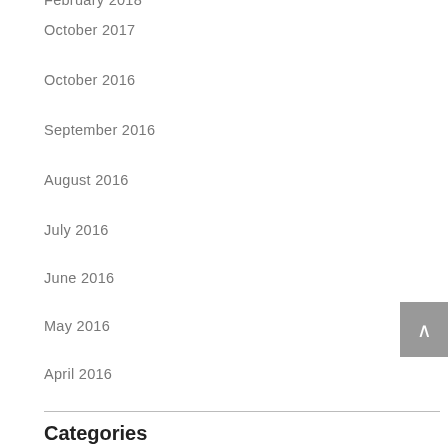February 2018
October 2017
October 2016
September 2016
August 2016
July 2016
June 2016
May 2016
April 2016
Categories
Guest Insights
Interesting Reads